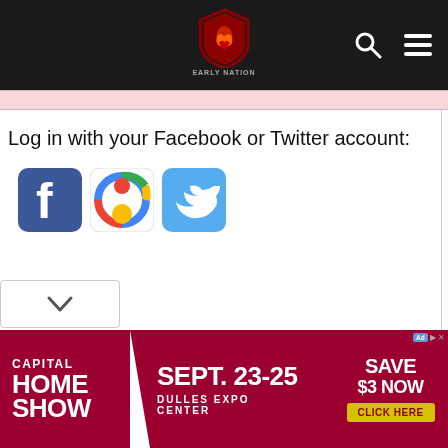[Figure (screenshot): Website top navigation bar with dark background, shield logo with flame icon and brand name, search icon (magnifying glass) and hamburger menu icon on the right]
Log in with your Facebook or Twitter account:
[Figure (illustration): Row of three social media login icons: Facebook (blue square with white F), Google+ (multi-colored square), Twitter (light blue square with white bird)]
[Figure (screenshot): Dropdown chevron button at bottom left]
[Figure (infographic): Advertisement banner for Capital Home Show, Sept. 23-25 at Dulles Expo Center, Save $3 Now - Click Here button. Dark red/maroon background with white and yellow text.]